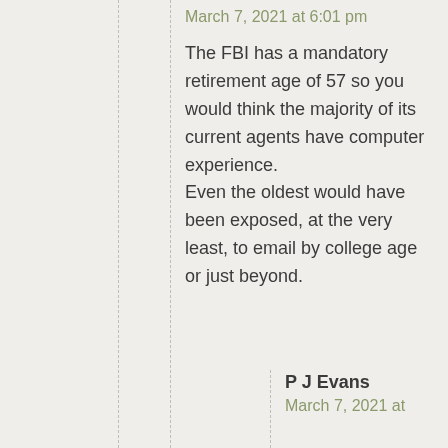March 7, 2021 at 6:01 pm
The FBI has a mandatory retirement age of 57 so you would think the majority of its current agents have computer experience. Even the oldest would have been exposed, at the very least, to email by college age or just beyond.
P J Evans
March 7, 2021 at